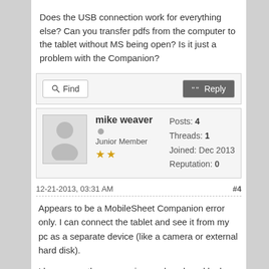Does the USB connection work for everything else? Can you transfer pdfs from the computer to the tablet without MS being open? Is it just a problem with the Companion?
Find | Reply
mike weaver
Junior Member
★★
Posts: 4
Threads: 1
Joined: Dec 2013
Reputation: 0
12-21-2013, 03:31 AM  #4
Appears to be a MobileSheet Companion error only. I can connect the tablet and see it from my pc as a separate device (like a camera or external hard disk).

I have seen the companion appl work and looks like a great tool. But on opening it on my pc it shows the above error before ever opening, and will not open unless I cancel out of the error.